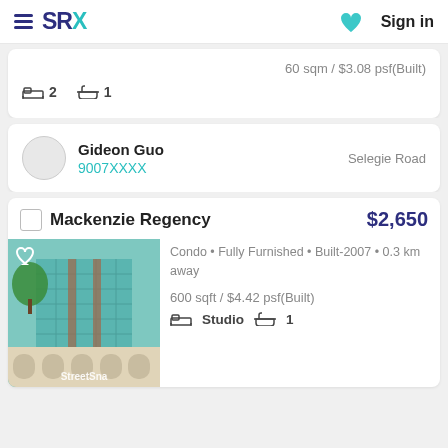SRX | Sign in
60 sqm / $3.08 psf(Built)
2 bedrooms, 1 bathroom
Gideon Guo | 9007XXXX | Selegie Road
Mackenzie Regency   $2,650
Condo • Fully Furnished • Built-2007 • 0.3 km away
600 sqft / $4.42 psf(Built)
Studio  1